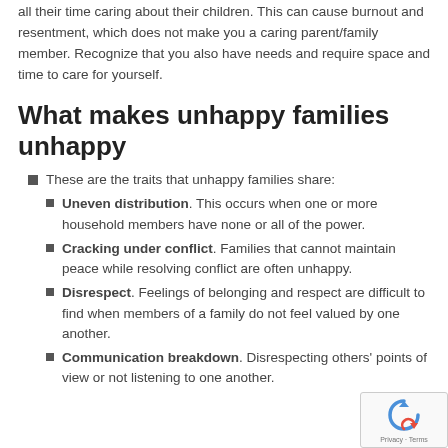all their time caring about their children. This can cause burnout and resentment, which does not make you a caring parent/family member. Recognize that you also have needs and require space and time to care for yourself.
What makes unhappy families unhappy
These are the traits that unhappy families share:
Uneven distribution. This occurs when one or more household members have none or all of the power.
Cracking under conflict. Families that cannot maintain peace while resolving conflict are often unhappy.
Disrespect. Feelings of belonging and respect are difficult to find when members of a family do not feel valued by one another.
Communication breakdown. Disrespecting others' points of view or not listening to one another.
[Figure (logo): reCAPTCHA logo with Privacy and Terms text]